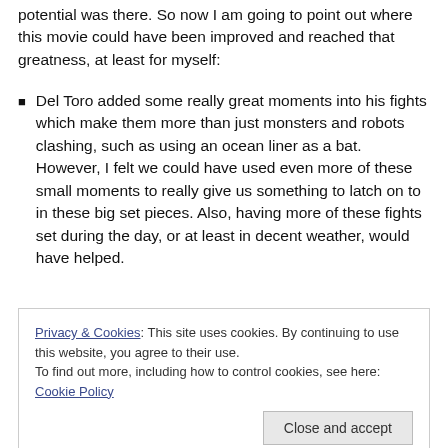potential was there. So now I am going to point out where this movie could have been improved and reached that greatness, at least for myself:
Del Toro added some really great moments into his fights which make them more than just monsters and robots clashing, such as using an ocean liner as a bat. However, I felt we could have used even more of these small moments to really give us something to latch on to in these big set pieces. Also, having more of these fights set during the day, or at least in decent weather, would have helped.
relatability was needed.